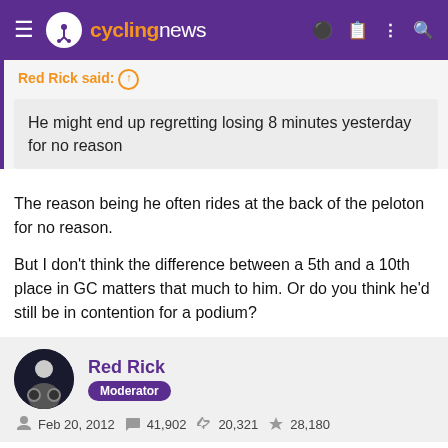cyclingnews
Red Rick said: ⊕
He might end up regretting losing 8 minutes yesterday for no reason
The reason being he often rides at the back of the peloton for no reason.

But I don't think the difference between a 5th and a 10th place in GC matters that much to him. Or do you think he'd still be in contention for a podium?
Red Rick
Moderator
Feb 20, 2012   41,902   20,321   28,180